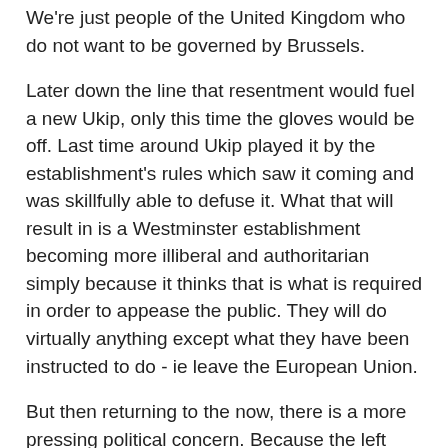We're just people of the United Kingdom who do not want to be governed by Brussels.
Later down the line that resentment would fuel a new Ukip, only this time the gloves would be off. Last time around Ukip played it by the establishment's rules which saw it coming and was skillfully able to defuse it. What that will result in is a Westminster establishment becoming more illiberal and authoritarian simply because it thinks that is what is required in order to appease the public. They will do virtually anything except what they have been instructed to do - ie leave the European Union.
But then returning to the now, there is a more pressing political concern. Because the left and the remain establishment very much believe there is a seething mass of fascism they are taking ever more illiberal measures to police language and the debate in general. If anything feeds, validates and emboldens the sense of resentment it is precisely that sort of paternalistic intervention - where the establishment believes the plebs must be protected from harmful words and ideas. This we have already had two